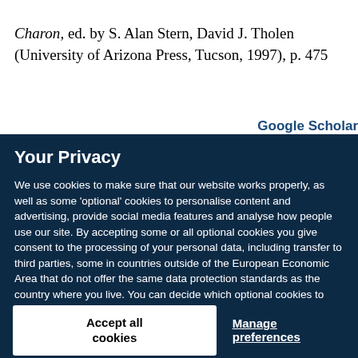Charon, ed. by S. Alan Stern, David J. Tholen (University of Arizona Press, Tucson, 1997), p. 475
Google Scholar
Your Privacy
We use cookies to make sure that our website works properly, as well as some 'optional' cookies to personalise content and advertising, provide social media features and analyse how people use our site. By accepting some or all optional cookies you give consent to the processing of your personal data, including transfer to third parties, some in countries outside of the European Economic Area that do not offer the same data protection standards as the country where you live. You can decide which optional cookies to accept by clicking on 'Manage Settings', where you can also find more information about how your personal data is processed. Further information can be found in our privacy policy.
Accept all cookies
Manage preferences